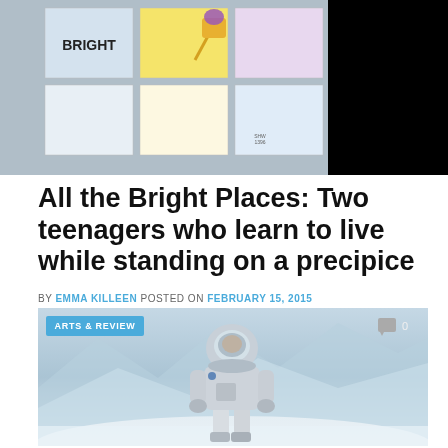[Figure (photo): Top image showing sticky notes on a corkboard or wall, including one labeled BRIGHT with a thumbtack, and other pastel-colored notes. A black rectangle covers the top-right corner.]
All the Bright Places: Two teenagers who learn to live while standing on a precipice
BY EMMA KILLEEN POSTED ON FEBRUARY 15, 2015
[Figure (photo): Photo of an astronaut in a white spacesuit walking through a snowy or icy landscape. An 'ARTS & REVIEW' badge appears in the top-left corner of the image, and a comment icon with '0' appears in the top-right.]